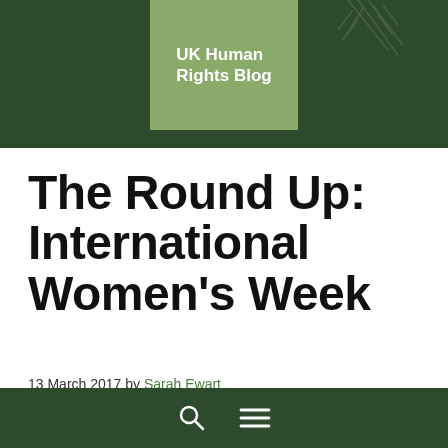UK Human Rights Blog
The Round Up: International Women's Week
13 March 2017 by Sarah Ewart
[Figure (photo): Large crowd of protesters marching with signs near the US Capitol building during the Women's March]
Happy international women's week, Human Rights Blog readers! Women's rights are human
Search and menu icons